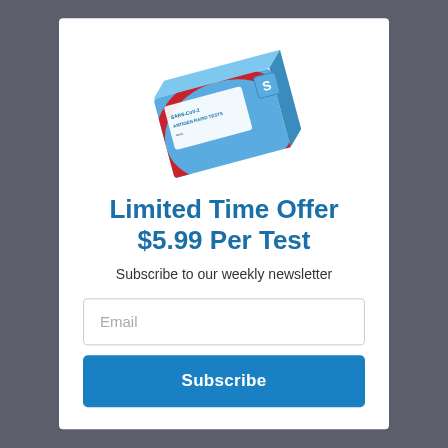[Figure (photo): SARS-CoV-2 Antigen Rapid Tests product box, blue packaging with red stripe and white label]
Limited Time Offer $5.99 Per Test
Subscribe to our weekly newsletter
[Figure (other): Email input field with placeholder text 'Email']
Subscribe